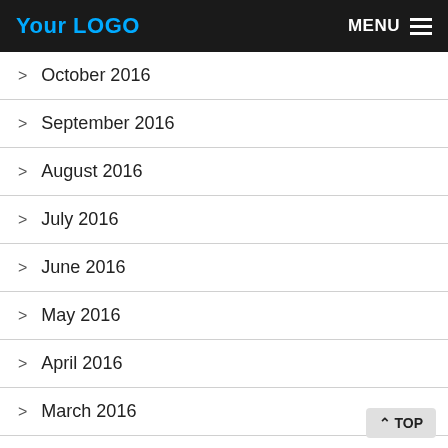Your LOGO  MENU
> October 2016
> September 2016
> August 2016
> July 2016
> June 2016
> May 2016
> April 2016
> March 2016
> February 2016
Department
> 05mhz